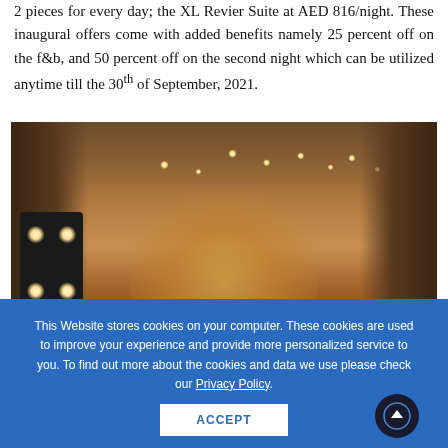2 pieces for every day; the XL Revier Suite at AED 816/night. These inaugural offers come with added benefits namely 25 percent off on the f&b, and 50 percent off on the second night which can be utilized anytime till the 30th of September, 2021.
[Figure (photo): Interior of a hotel lobby or lounge with warm lighting, pendant lights hanging from ceiling, wooden bookshelves on sides, stage lights on left, and a view through large windows in the center.]
This Website stores cookies on your computer. These cookies are used to improve your experience and provide more personalized service to you. To find out more about the cookies and data we use please check our Privacy Policy.